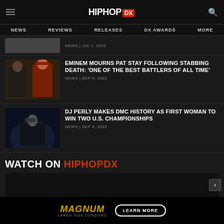HipHopDX — NEWS | REVIEWS | RELEASES | DX AWARDS | MORE
NEWS | JUL 1, 2022
EMINEM MOURNS PAT STAY FOLLOWING STABBING DEATH: 'ONE OF THE BEST BATTLERS OF ALL TIME'
NEWS | SEP 4, 2022
DJ PERLY MAKES DMC HISTORY AS FIRST WOMAN TO WIN TWO U.S. CHAMPIONSHIPS
NEWS | SEP 4, 2022
WATCH ON HIPHOPDX
[Figure (other): Advertisement: MAGNUM Large Size Condoms — LEARN MORE button]